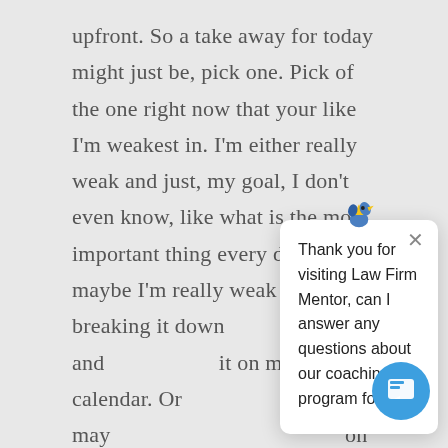upfront. So a take away for today might just be, pick one. Pick of the one right now that your like I'm weakest in. I'm either really weak and just, my goal, I don't even know, like what is the most important thing every day, or maybe I'm really weak in truly breaking it down and putting it on my calendar. Or maybe I've got it on my calendar on it, or maybe I've got to really set some boundaries. But, you know, whatever that's, that's the one I want to start with and then we're like, as I get a little bit more mastered, can bring the other ones in place.
[Figure (screenshot): Chat popup overlay with bird icon at top, close X button, and message: Thank you for visiting Law Firm Mentor, can I answer any questions about our coaching program for you?]